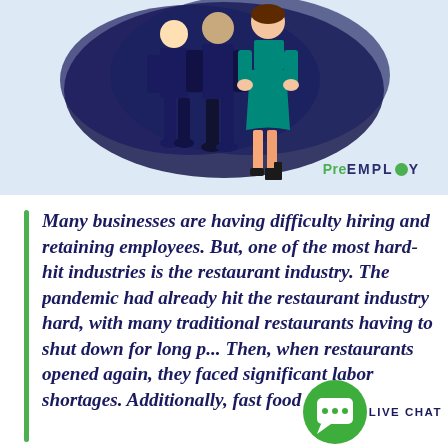[Figure (illustration): Illustration of three people standing together against a dark navy brushstroke background, with a teal/green company logo 'PreEMPLOY' in the lower right of the image area]
Many businesses are having difficulty hiring and retaining employees. But, one of the most hard-hit industries is the restaurant industry. The pandemic had already hit the restaurant industry hard, with many traditional restaurants having to shut down for long p... Then, when restaurants opened again, they faced significant labor shortages. Additionally, fast food...